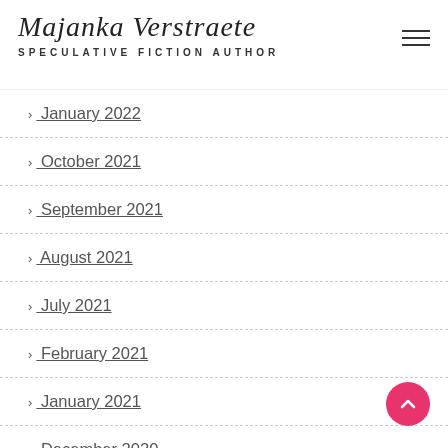Majanka Verstraete – SPECULATIVE FICTION AUTHOR
> January 2022
> October 2021
> September 2021
> August 2021
> July 2021
> February 2021
> January 2021
> December 2020